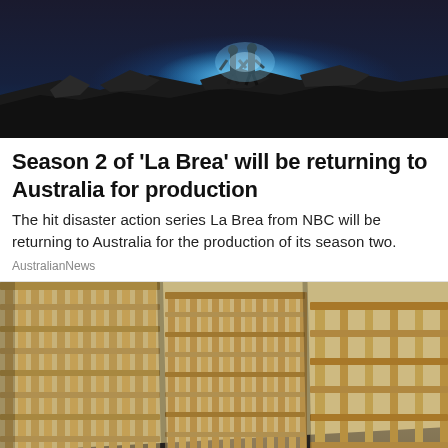[Figure (photo): Promotional image for the TV show La Brea showing two figures standing on rubble against a dramatic blue glowing background]
Season 2 of 'La Brea' will be returning to Australia for production
The hit disaster action series La Brea from NBC will be returning to Australia for the production of its season two.
AustralianNews
[Figure (photo): Interior photo of prison cell bars/jail cells with a yellow-tan metallic grid pattern, long corridor perspective]